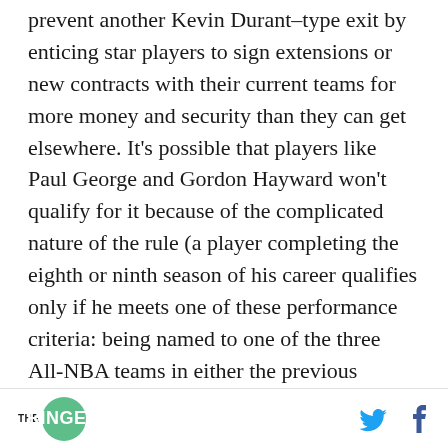The designated player extension was designed to prevent another Kevin Durant–type exit by enticing star players to sign extensions or new contracts with their current teams for more money and security than they can get elsewhere. It's possible that players like Paul George and Gordon Hayward won't qualify for it because of the complicated nature of the rule (a player completing the eighth or ninth season of his career qualifies only if he meets one of these performance criteria: being named to one of the three All-NBA teams in either the previous season or both of the prior two, winning the MVP award
THE RINGER